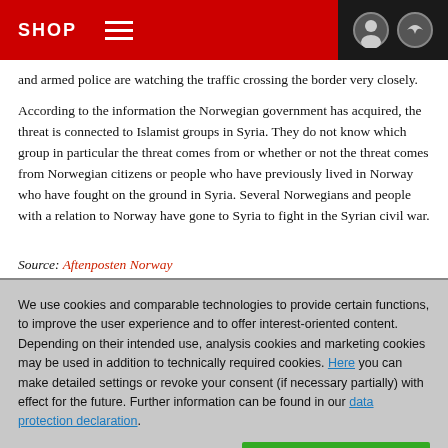SHOP
and armed police are watching the traffic crossing the border very closely.
According to the information the Norwegian government has acquired, the threat is connected to Islamist groups in Syria. They do not know which group in particular the threat comes from or whether or not the threat comes from Norwegian citizens or people who have previously lived in Norway who have fought on the ground in Syria. Several Norwegians and people with a relation to Norway have gone to Syria to fight in the Syrian civil war.
Source: Aftenposten Norway
We use cookies and comparable technologies to provide certain functions, to improve the user experience and to offer interest-oriented content. Depending on their intended use, analysis cookies and marketing cookies may be used in addition to technically required cookies. Here you can make detailed settings or revoke your consent (if necessary partially) with effect for the future. Further information can be found in our data protection declaration.